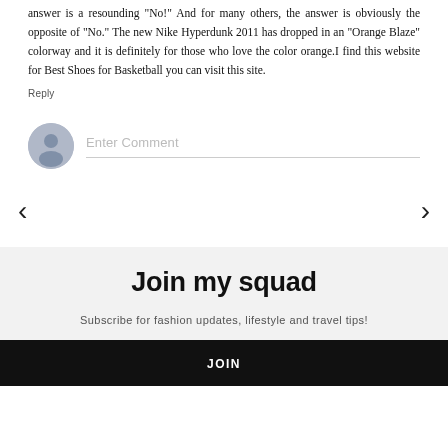answer is a resounding "No!" And for many others, the answer is obviously the opposite of "No." The new Nike Hyperdunk 2011 has dropped in an "Orange Blaze" colorway and it is definitely for those who love the color orange.I find this website for Best Shoes for Basketball you can visit this site.
Reply
[Figure (other): User avatar circle icon with comment input field placeholder text 'Enter Comment']
‹
›
Join my squad
Subscribe for fashion updates, lifestyle and travel tips!
JOIN